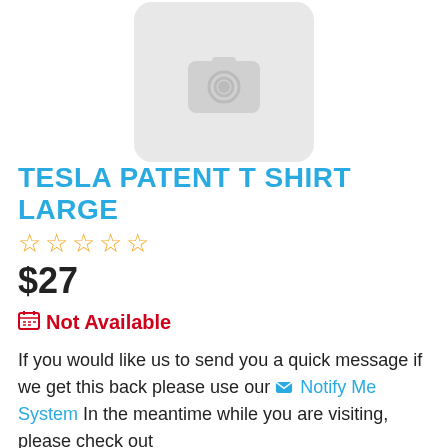[Figure (photo): Product image placeholder with camera icon on gray rounded background]
TESLA PATENT T SHIRT LARGE
☆☆☆☆☆ (star rating, 0 stars)
$27
🗓 Not Available
If you would like us to send you a quick message if we get this back please use our ✉ Notify Me System In the meantime while you are visiting, please check out